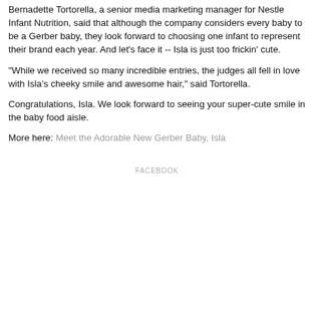Bernadette Tortorella, a senior media marketing manager for Nestle Infant Nutrition, said that although the company considers every baby to be a Gerber baby, they look forward to choosing one infant to represent their brand each year. And let's face it -- Isla is just too frickin' cute.
"While we received so many incredible entries, the judges all fell in love with Isla's cheeky smile and awesome hair," said Tortorella.
Congratulations, Isla. We look forward to seeing your super-cute smile in the baby food aisle.
More here: Meet the Adorable New Gerber Baby, Isla
FACEBOOK